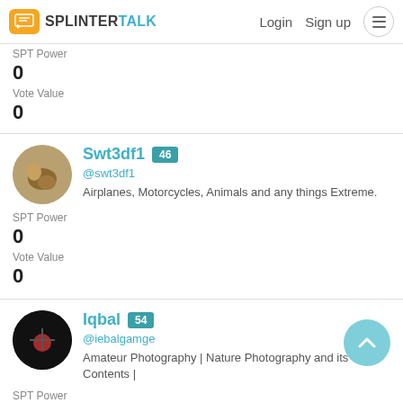SPLINTER TALK — Login  Sign up
SPT Power
0
Vote Value
0
Swt3df1  46
@swt3df1
Airplanes, Motorcycles, Animals and any things Extreme.
SPT Power
0
Vote Value
0
Iqbal  54
@iebalgamge
Amateur Photography | Nature Photography and its Contents |
SPT Power
0